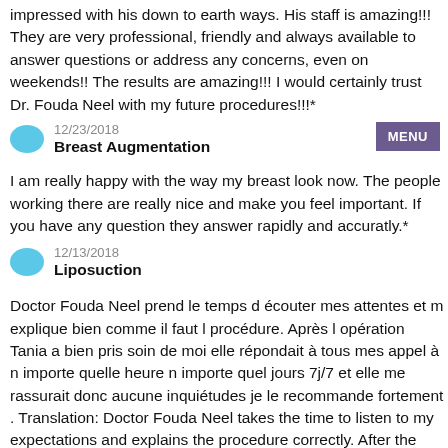...and he takes the time to answer questions and so impressed with his down to earth ways. His staff is amazing!!! They are very professional, friendly and always available to answer questions or address any concerns, even on weekends!! The results are amazing!!! I would certainly trust Dr. Fouda Neel with my future procedures!!!*
12/23/2018
Breast Augmentation
I am really happy with the way my breast look now. The people working there are really nice and make you feel important. If you have any question they answer rapidly and accuratly.*
12/13/2018
Liposuction
Doctor Fouda Neel prend le temps d écouter mes attentes et m explique bien comme il faut l procédure. Après l opération Tania a bien pris soin de moi elle répondait à tous mes appel à n importe quelle heure n importe quel jours 7j/7 et elle me rassurait donc aucune inquiétudes je le recommande fortement . Translation: Doctor Fouda Neel takes the time to listen to my expectations and explains the procedure correctly. After the operation Tania took good care of me she answered all my calls at any time any day 7/7